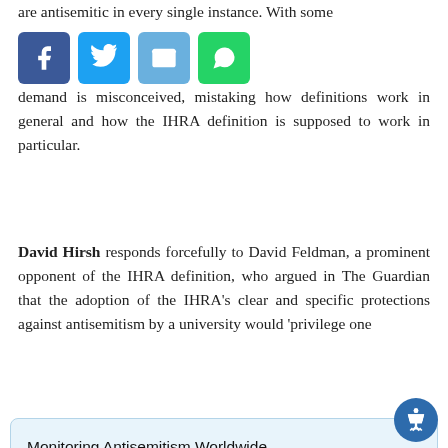are antisemitic in every single instance. With some demand is misconceived, mistaking how definitions work in general and how the IHRA definition is supposed to work in particular.
[Figure (other): Social media share buttons: Facebook (blue), Twitter (light blue), Email (blue), WhatsApp (green)]
David Hirsh responds forcefully to David Feldman, a prominent opponent of the IHRA definition, who argued in The Guardian that the adoption of the IHRA's clear and specific protections against antisemitism by a university would 'privilege one
Monitoring Antisemitism Worldwide uses cookies to provide necessary website functionality, improve your experience and analyze our traffic. By using our website, you agree to our Cookies Policy. Learn more
Got it!
nation state, is rapidly accepted as legitimate
than one form of